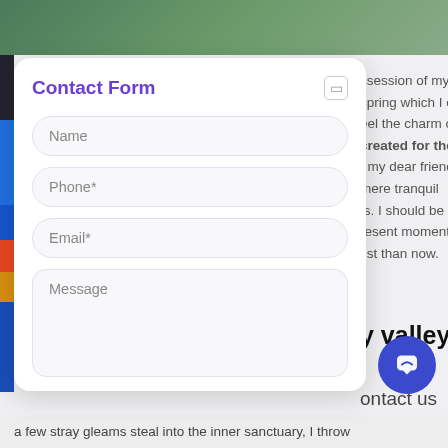[Figure (screenshot): Screenshot of a website with a contact form overlay on the left and body text on the right. The contact form has fields for Name, Phone*, Email*, and Message. The background shows a nature photo at top and article text on the right side. A blue chat button appears in the bottom right.]
Contact Form
Name
Phone*
Email*
Message
ssession of my entire spring which I enjoy with eel the charm of
created for the bliss
, my dear friend, so mere tranquil ts. I should be incapable resent moment; and yet tist than now.
y valley teems
ontact us
ge of my trees, and but a few stray gleams steal into the inner sanctuary, I throw